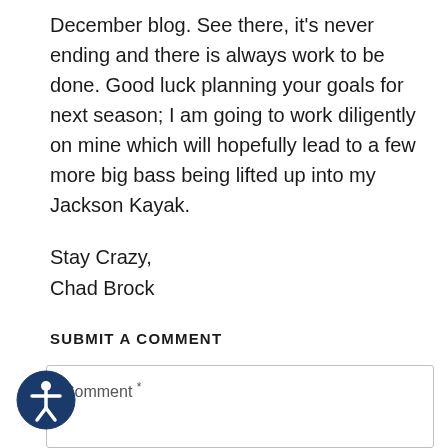December blog. See there, it's never ending and there is always work to be done. Good luck planning your goals for next season; I am going to work diligently on mine which will hopefully lead to a few more big bass being lifted up into my Jackson Kayak.
Stay Crazy,
Chad Brock
SUBMIT A COMMENT
Comment *